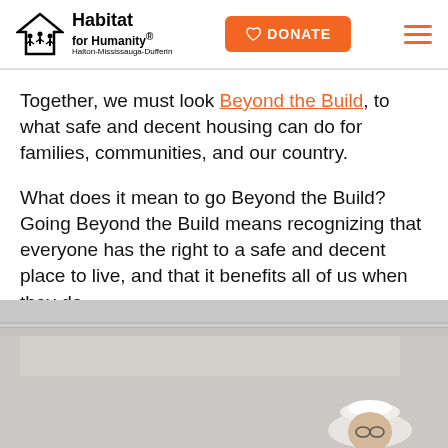Habitat for Humanity Halton-Mississauga-Dufferin — DONATE
Together, we must look Beyond the Build, to what safe and decent housing can do for families, communities, and our country.
What does it mean to go Beyond the Build? Going Beyond the Build means recognizing that everyone has the right to a safe and decent place to live, and that it benefits all of us when they do.
[Figure (photo): Partial photo of a person wearing a hard hat, appearing from the bottom of the page, with a light grey interior background visible above them.]